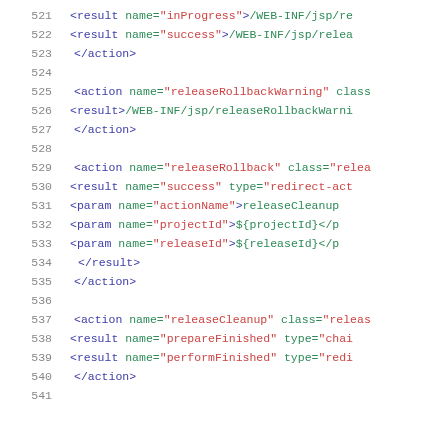521   <result name="inProgress">/WEB-INF/jsp/re
522   <result name="success">/WEB-INF/jsp/relea
523   </action>
524
525   <action name="releaseRollbackWarning" class
526   <result>/WEB-INF/jsp/releaseRollbackWarni
527   </action>
528
529   <action name="releaseRollback" class="relea
530   <result name="success" type="redirect-act
531   <param name="actionName">releaseCleanup
532   <param name="projectId">${projectId}</p
533   <param name="releaseId">${releaseId}</p
534   </result>
535   </action>
536
537   <action name="releaseCleanup" class="releas
538   <result name="prepareFinished" type="chai
539   <result name="performFinished" type="redi
540   </action>
541